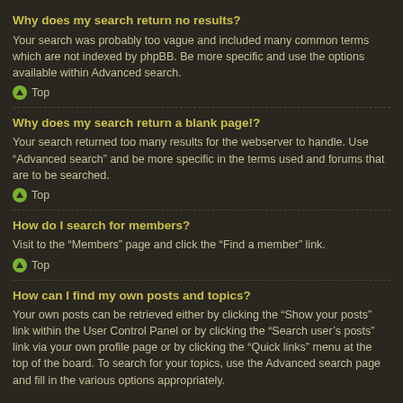Why does my search return no results?
Your search was probably too vague and included many common terms which are not indexed by phpBB. Be more specific and use the options available within Advanced search.
Top
Why does my search return a blank page!?
Your search returned too many results for the webserver to handle. Use “Advanced search” and be more specific in the terms used and forums that are to be searched.
Top
How do I search for members?
Visit to the “Members” page and click the “Find a member” link.
Top
How can I find my own posts and topics?
Your own posts can be retrieved either by clicking the “Show your posts” link within the User Control Panel or by clicking the “Search user’s posts” link via your own profile page or by clicking the “Quick links” menu at the top of the board. To search for your topics, use the Advanced search page and fill in the various options appropriately.